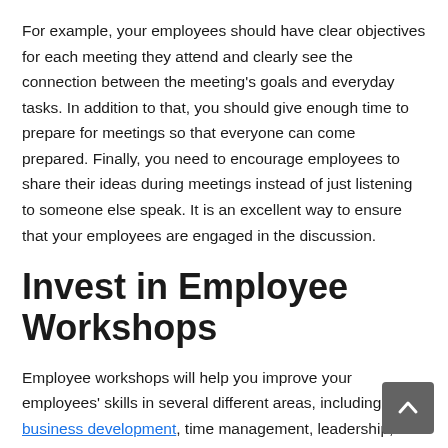For example, your employees should have clear objectives for each meeting they attend and clearly see the connection between the meeting's goals and everyday tasks. In addition to that, you should give enough time to prepare for meetings so that everyone can come prepared. Finally, you need to encourage employees to share their ideas during meetings instead of just listening to someone else speak. It is an excellent way to ensure that your employees are engaged in the discussion.
Invest in Employee Workshops
Employee workshops will help you improve your employees' skills in several different areas, including business development, time management, leadership,